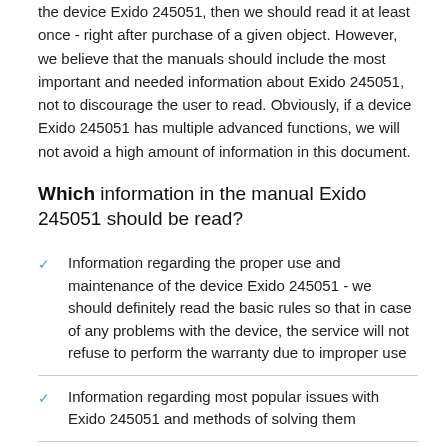the device Exido 245051, then we should read it at least once - right after purchase of a given object. However, we believe that the manuals should include the most important and needed information about Exido 245051, not to discourage the user to read. Obviously, if a device Exido 245051 has multiple advanced functions, we will not avoid a high amount of information in this document.
Which information in the manual Exido 245051 should be read?
Information regarding the proper use and maintenance of the device Exido 245051 - we should definitely read the basic rules so that in case of any problems with the device, the service will not refuse to perform the warranty due to improper use
Information regarding most popular issues with Exido 245051 and methods of solving them
Information regarding the warranty of device Exido 245051 and the nearest services able to repair the device according with the